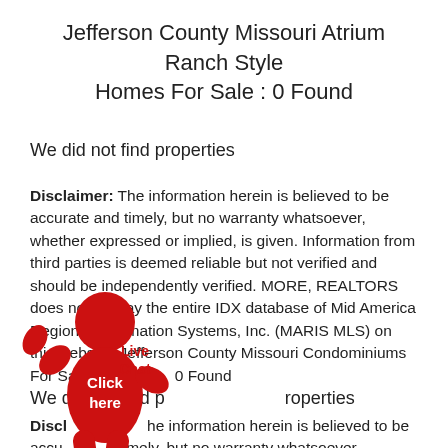Jefferson County Missouri Atrium Ranch Style Homes For Sale : 0 Found
We did not find properties
Disclaimer: The information herein is believed to be accurate and timely, but no warranty whatsoever, whether expressed or implied, is given. Information from third parties is deemed reliable but not verified and should be independently verified. MORE, REALTORS does not display the entire IDX database of Mid America Regional Information Systems, Inc. (MARIS MLS) on this website. Jefferson County Missouri Condominiums For Sale : 0 Found
[Figure (illustration): Red stick figure person with 'Click here' text and 'Live Chat' label overlay]
We did not find properties
Disclaimer: The information herein is believed to be accurate and timely, but no warranty whatsoever, whether